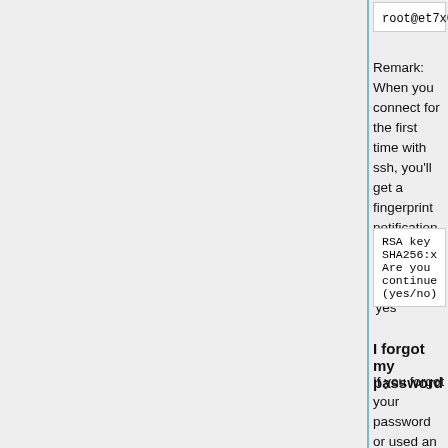root@et7x00:~#
Remark: When you connect for the first time with ssh, you'll get a fingerprint notification. You can accept this by typing 'yes'
RSA key fingerprint is SHA256:x2iV/az3N6IVgWYEpAw4mDE5
Are you sure you want to continue connecting (yes/no)? yes
I forgot my password
If you forgot your password or used an extension for changing it with OpenPLi you can clear the password by editing the first line in /etc/shadow which